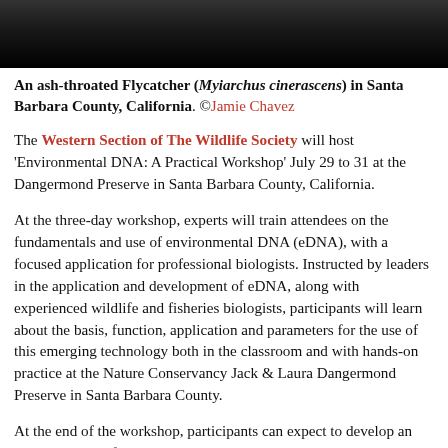[Figure (photo): Dark nature/wildlife photo, partially cropped at top — shows what appears to be a bird against a dark background]
An ash-throated Flycatcher (Myiarchus cinerascens) in Santa Barbara County, California. ©Jamie Chavez
The Western Section of The Wildlife Society will host 'Environmental DNA: A Practical Workshop' July 29 to 31 at the Dangermond Preserve in Santa Barbara County, California.
At the three-day workshop, experts will train attendees on the fundamentals and use of environmental DNA (eDNA), with a focused application for professional biologists. Instructed by leaders in the application and development of eDNA, along with experienced wildlife and fisheries biologists, participants will learn about the basis, function, application and parameters for the use of this emerging technology both in the classroom and with hands-on practice at the Nature Conservancy Jack & Laura Dangermond Preserve in Santa Barbara County.
At the end of the workshop, participants can expect to develop an understanding of what and how to utilize eDNA sampling and results. They'll also have the unique opportunity to